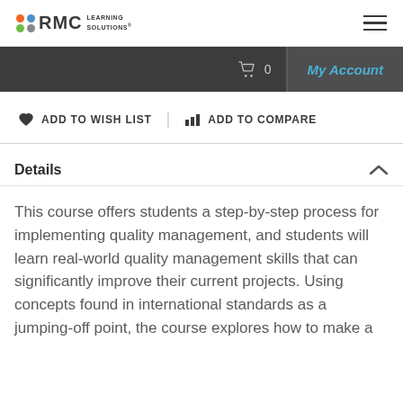RMC LEARNING SOLUTIONS
0   My Account
♥ ADD TO WISH LIST   ↑↓ ADD TO COMPARE
Details
This course offers students a step-by-step process for implementing quality management, and students will learn real-world quality management skills that can significantly improve their current projects. Using concepts found in international standards as a jumping-off point, the course explores how to make a